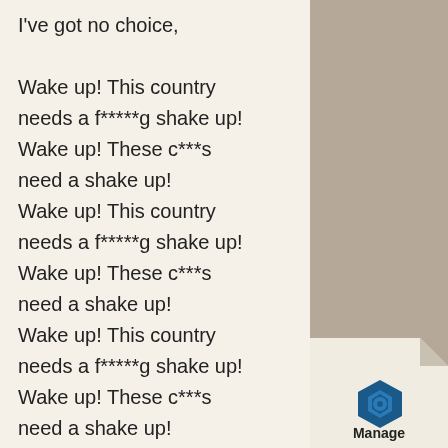I've got no choice,

Wake up! This country needs a f*****g shake up! Wake up! These c***s need a shake up! Wake up! This country needs a f*****g shake up! Wake up! These c***s need a shake up! Wake up! This country needs a f*****g shake up! Wake up! These c***s need a shake up! Wake up! This country needs a f*****g shake up! Wa...
[Figure (logo): Manage logo - a folded page corner with a blue hexagonal bolt icon and the word Manage]